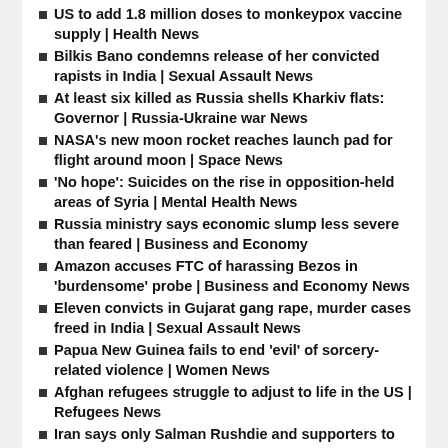US to add 1.8 million doses to monkeypox vaccine supply | Health News
Bilkis Bano condemns release of her convicted rapists in India | Sexual Assault News
At least six killed as Russia shells Kharkiv flats: Governor | Russia-Ukraine war News
NASA's new moon rocket reaches launch pad for flight around moon | Space News
'No hope': Suicides on the rise in opposition-held areas of Syria | Mental Health News
Russia ministry says economic slump less severe than feared | Business and Economy
Amazon accuses FTC of harassing Bezos in 'burdensome' probe | Business and Economy News
Eleven convicts in Gujarat gang rape, murder cases freed in India | Sexual Assault News
Papua New Guinea fails to end 'evil' of sorcery-related violence | Women News
Afghan refugees struggle to adjust to life in the US | Refugees News
Iran says only Salman Rushdie and supporters to